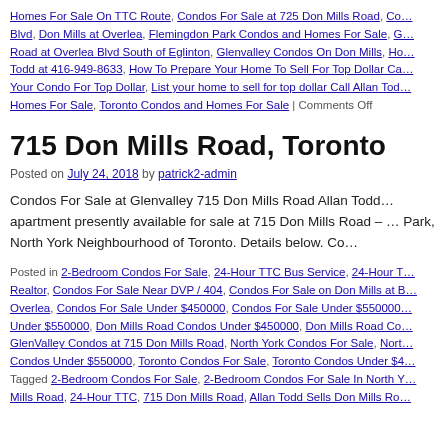Homes For Sale On TTC Route, Condos For Sale at 725 Don Mills Road, Co... Blvd, Don Mills at Overlea, Flemingdon Park Condos and Homes For Sale, G... Road at Overlea Blvd South of Eglinton, Glenvalley Condos On Don Mills, Ho... Todd at 416-949-8633, How To Prepare Your Home To Sell For Top Dollar Ca... Your Condo For Top Dollar, List your home to sell for top dollar Call Allan Tod... Homes For Sale, Toronto Condos and Homes For Sale | Comments Off
715 Don Mills Road, Toronto
Posted on July 24, 2018 by patrick2-admin
Condos For Sale at Glenvalley 715 Don Mills Road Allan Todd... apartment presently available for sale at 715 Don Mills Road – ... Park, North York Neighbourhood of Toronto. Details below. Co...
Posted in 2-Bedroom Condos For Sale, 24-Hour TTC Bus Service, 24-Hour T... Realtor, Condos For Sale Near DVP / 404, Condos For Sale on Don Mills at B... Overlea, Condos For Sale Under $450000, Condos For Sale Under $550000... Under $550000, Don Mills Road Condos Under $450000, Don Mills Road Co... GlenValley Condos at 715 Don Mills Road, North York Condos For Sale, Nort... Condos Under $550000, Toronto Condos For Sale, Toronto Condos Under $4... Tagged 2-Bedroom Condos For Sale, 2-Bedroom Condos For Sale In North Y... Mills Road, 24-Hour TTC, 715 Don Mills Road, Allan Todd Sells Don Mills Ro...